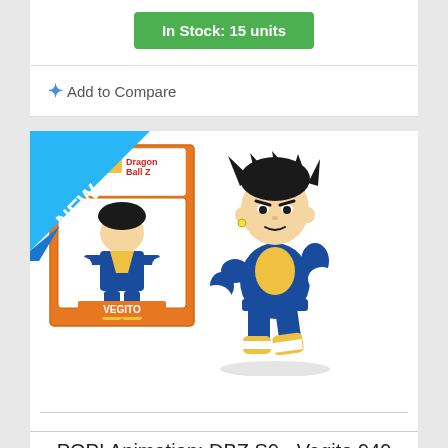In Stock: 15 units
Add to Compare
[Figure (photo): Funko POP! Animation Dragon Ball Z S9 Vegito #949 product image showing the orange retail box with the Vegito figure on the left, and a larger standalone Vegito figure on the right. A 'NEW' ribbon badge is in the top-left corner of the product card.]
POP! Animation: DBZ S9 - Vegito 949